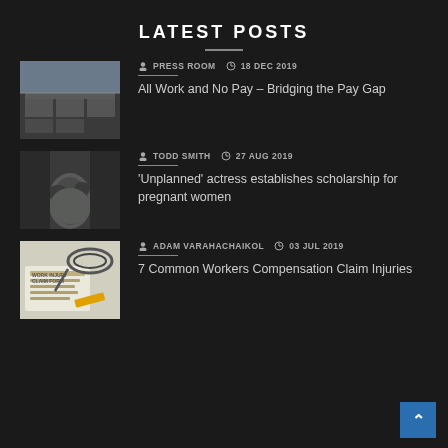LATEST POSTS
[Figure (photo): Aerial view of industrial buildings/warehouses]
PRESS ROOM  18 DEC 2019
All Work and No Pay – Bridging the Pay Gap
[Figure (photo): Black and white photo of pregnant woman]
TODD SMITH  27 AUG 2019
'Unplanned' actress establishes scholarship for pregnant women
[Figure (photo): Work Injury Claim Form with glasses and pencil]
ADAM VARAHACHAIKOL  03 JUL 2019
7 Common Workers Compensation Claim Injuries